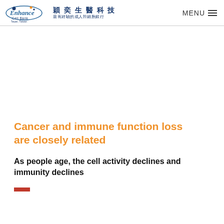Enhance Cell Bank 穎奕生醫科技 最有經驗的成人幹細胞銀行 MENU
Cancer and immune function loss are closely related
As people age, the cell activity declines and immunity declines